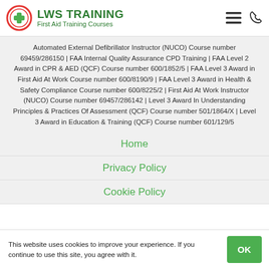LWS TRAINING First Aid Training Courses
Automated External Defibrillator Instructor (NUCO) Course number 69459/286150 | FAA Internal Quality Assurance CPD Training | FAA Level 2 Award in CPR & AED (QCF) Course number 600/1852/5 | FAA Level 3 Award in First Aid At Work Course number 600/8190/9 | FAA Level 3 Award in Health & Safety Compliance Course number 600/8225/2 | First Aid At Work Instructor (NUCO) Course number 69457/286142 | Level 3 Award In Understanding Principles & Practices Of Assessment (QCF) Course number 501/1864/X | Level 3 Award in Education & Training (QCF) Course number 601/129/5
Home
Privacy Policy
Cookie Policy
This website uses cookies to improve your experience. If you continue to use this site, you agree with it.